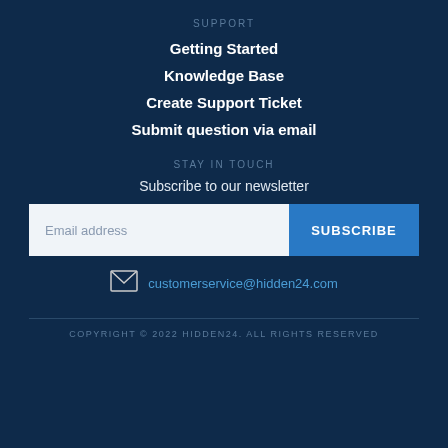SUPPORT
Getting Started
Knowledge Base
Create Support Ticket
Submit question via email
STAY IN TOUCH
Subscribe to our newsletter
Email address
SUBSCRIBE
customerservice@hidden24.com
COPYRIGHT © 2022 HIDDEN24. ALL RIGHTS RESERVED